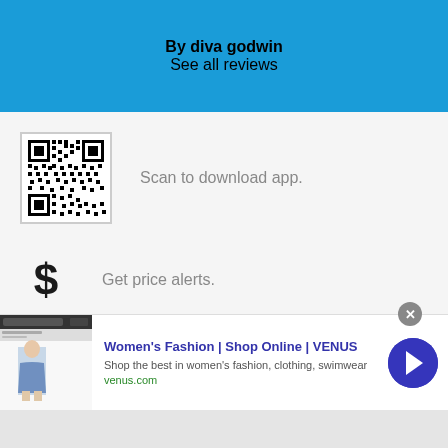By diva godwin
See all reviews
[Figure (other): QR code for downloading app]
Scan to download app.
Get price alerts.
[Figure (screenshot): Advertisement: Women's Fashion | Shop Online | VENUS. Shop the best in women's fashion, clothing, swimwear. venus.com]